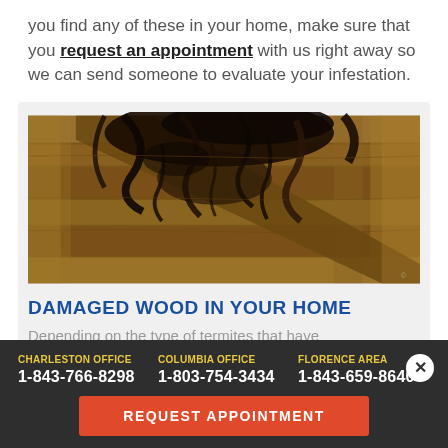you find any of these in your home, make sure that you request an appointment with us right away so we can send someone to evaluate your infestation.
[Figure (photo): Photo of severely damaged wood showing termite or moisture damage, with warped, darkened, and deteriorating wood beams and framing]
DAMAGED WOOD IN YOUR HOME
Depending on the type of termites that have
CHARLESTON OFFICE
1-843-766-8298
COLUMBIA OFFICE
1-803-754-3434
FLORENCE AREA
1-843-659-8640
REQUEST APPOINTMENT